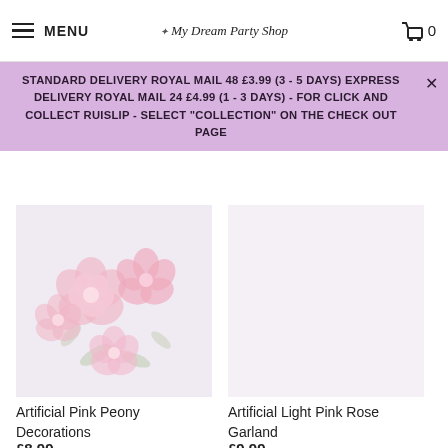MENU | My Dream Party Shop | 0
STANDARD DELIVERY ROYAL MAIL 48 £3.99 (3 - 5 DAYS) EXPRESS DELIVERY ROYAL MAIL 24 £4.99 (1 - 3 DAYS) - FOR CLICK AND COLLECT RUISLIP - SELECT "COLLECTION" ON THE CHECK OUT PAGE
[Figure (photo): Artificial pink peony flower decorations on a light background]
Artificial Pink Peony Decorations
£8.99
[Figure (photo): Artificial light pink rose garland on a light background (partially visible)]
Artificial Light Pink Rose Garland
£9.99